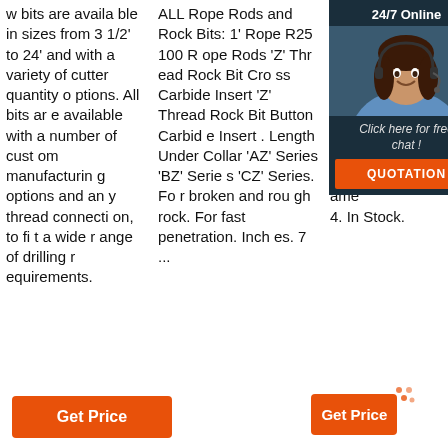w bits are available in sizes from 3 1/2' to 24' and with a variety of cutter quantity options. All bits are available with a number of custom manufacturing options and any thread connection, to fit a wide range of drilling requirements.
ALL Rope Rods and Rock Bits: 1' Rope R25 100 Rope Rods 'Z' Thread Rock Bit Cross Carbide Insert 'Z' Thread Rock Bit Button Carbide Insert . Length Under Collar 'AZ' Series 'BZ' Series 'CZ' Series. For broken and rough rock. For fast penetration. Inches. 7 ...
8' Cutting Height $18.02. In Stock. Ships from and sold by Inc. outlet 0 S l Bit Solid 4-In ame 4. In Stock.
[Figure (illustration): Customer service representative chat widget with '24/7 Online' header, photo of woman with headset, 'Click here for free chat!' text, and orange QUOTATION button]
[Figure (other): Orange 'Get Price' button in column 1]
[Figure (other): Orange 'Get Price' button with orange dot decoration in column 3]